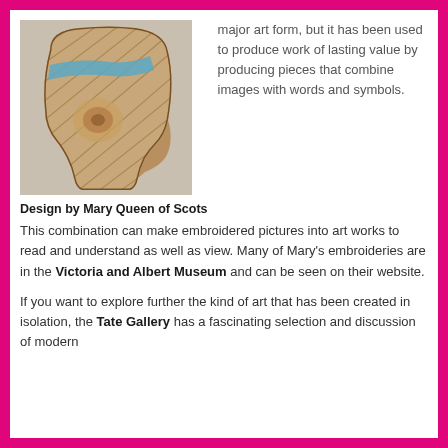[Figure (photo): Embroidered piece shaped like a decorative tile or potholder, attributed to Mary Queen of Scots, on a grey background.]
Design by Mary Queen of Scots
major art form, but it has been used to produce work of lasting value by producing pieces that combine images with words and symbols. This combination can make embroidered pictures into art works to read and understand as well as view. Many of Mary's embroideries are in the Victoria and Albert Museum and can be seen on their website.
If you want to explore further the kind of art that has been created in isolation, the Tate Gallery has a fascinating selection and discussion of modern